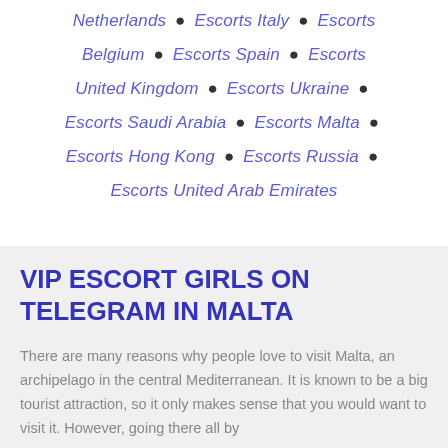Netherlands • Escorts Italy • Escorts Belgium • Escorts Spain • Escorts United Kingdom • Escorts Ukraine • Escorts Saudi Arabia • Escorts Malta • Escorts Hong Kong • Escorts Russia • Escorts United Arab Emirates
VIP ESCORT GIRLS ON TELEGRAM IN MALTA
There are many reasons why people love to visit Malta, an archipelago in the central Mediterranean. It is known to be a big tourist attraction, so it only makes sense that you would want to visit it. However, going there all by